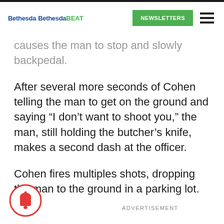Bethesda Bethesda BEAT | NEWSLETTERS
causes the man to stop and slowly backpedal.
After several more seconds of Cohen telling the man to get on the ground and saying “I don’t want to shoot you,” the man, still holding the butcher’s knife, makes a second dash at the officer.
Cohen fires multiples shots, dropping the man to the ground in a parking lot.
ADVERTISEMENT